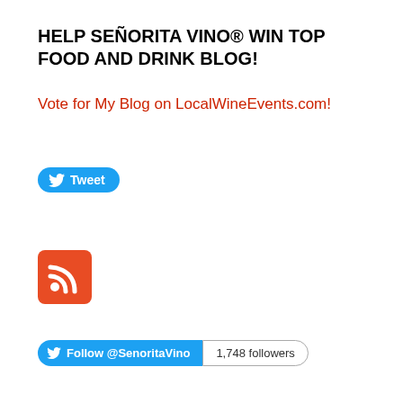HELP SEÑORITA VINO® WIN TOP FOOD AND DRINK BLOG!
Vote for My Blog on LocalWineEvents.com!
[Figure (other): Twitter Tweet button — blue rounded pill button with Twitter bird icon and 'Tweet' text]
[Figure (other): RSS feed icon — red rounded square with white RSS signal symbol]
[Figure (other): Twitter Follow button — 'Follow @SenoritaVino' blue pill button alongside '1,748 followers' count badge]